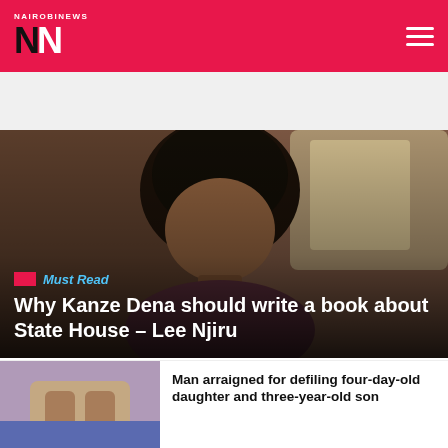Nairobi News
[Figure (photo): Photo of Kanze Dena, a woman with braided hair, looking to the side, with a blurred brown/green background]
Why Kanze Dena should write a book about State House – Lee Njiru
[Figure (photo): Thumbnail photo showing hands/arms of a person]
Man arraigned for defiling four-day-old daughter and three-year-old son